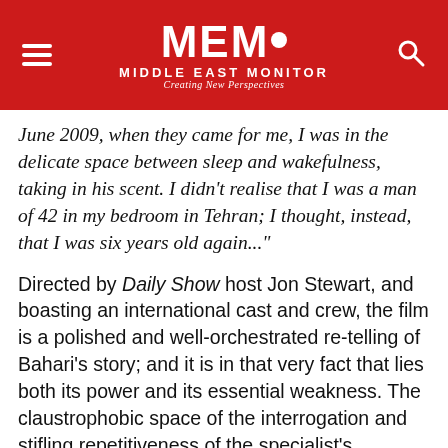MEMO MIDDLE EAST MONITOR — Creating New Perspectives
June 2009, when they came for me, I was in the delicate space between sleep and wakefulness, taking in his scent. I didn't realise that I was a man of 42 in my bedroom in Tehran; I thought, instead, that I was six years old again..."
Directed by Daily Show host Jon Stewart, and boasting an international cast and crew, the film is a polished and well-orchestrated retelling of Bahari's story; and it is in that very fact that lies both its power and its essential weakness. The claustrophobic space of the interrogation and stifling repetitiveness of the specialist's questions that dominate the narrative render an intimate portrait of the